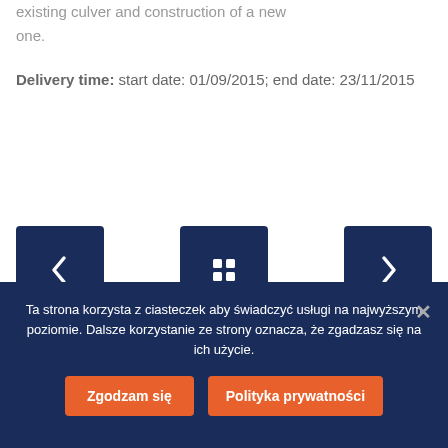existing culver and construction of a new one.
Delivery time: start date: 01/09/2015; end date: 23/11/2015
[Figure (screenshot): Three dark navy blue navigation buttons: a left arrow (<), a grid/home icon (4 squares), and a right arrow (>)]
Ta strona korzysta z ciasteczek aby świadczyć usługi na najwyższym poziomie. Dalsze korzystanie ze strony oznacza, że zgadzasz się na ich użycie.
Zgodzam się | Polityka prywatności